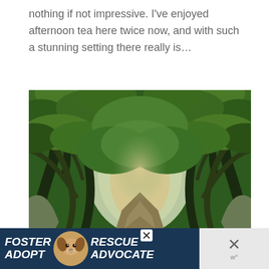nothing if not impressive. I've enjoyed afternoon tea here twice now, and with such a stunning setting there really is…
[Figure (photo): A lush green tree tunnel pathway with ancient gnarled trees forming a canopy overhead, looking down a narrow lane. Bright green foliage and mossy stone walls visible. A UI heart/like button (teal circle) and share button overlay the right side of the image, with a count of 1.]
[Figure (infographic): Advertisement banner reading 'FOSTER ADOPT' with a dog photo in center and 'RESCUE ADVOCATE' text, on dark navy background. Close button visible. Secondary dismiss area on right with X button.]